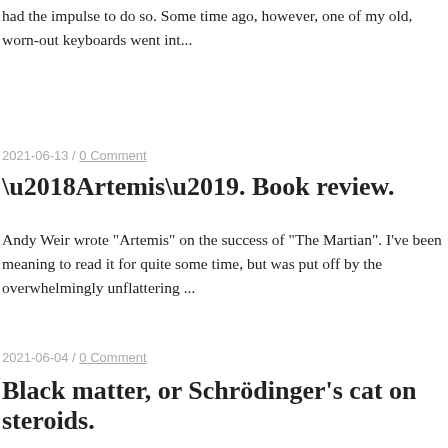had the impulse to do so. Some time ago, however, one of my old, worn-out keyboards went int...
2021-06-13 / 0 Comment
‘Artemis’. Book review.
Andy Weir wrote "Artemis" on the success of "The Martian". I've been meaning to read it for quite some time, but was put off by the overwhelmingly unflattering ...
2021-06-04 / 0 Comment
Black matter, or Schrödinger’s cat on steroids.